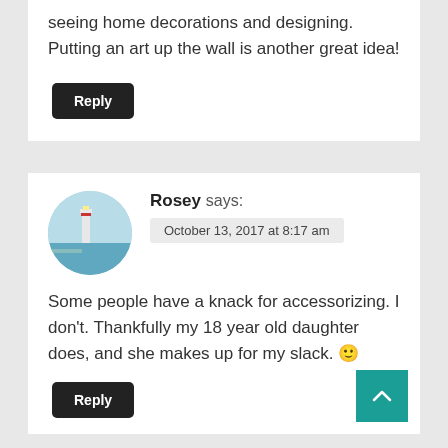seeing home decorations and designing. Putting an art up the wall is another great idea!
Reply
Rosey says:
October 13, 2017 at 8:17 am
Some people have a knack for accessorizing. I don't. Thankfully my 18 year old daughter does, and she makes up for my slack. 🙂
Reply